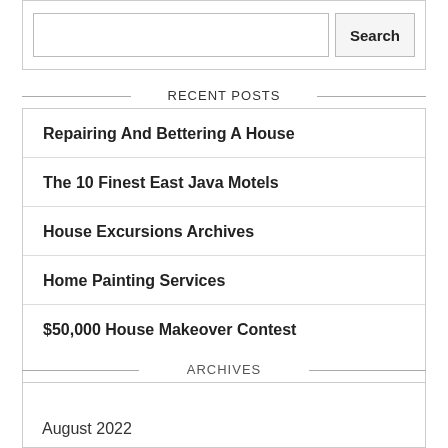[Figure (screenshot): Search box with input field and Search button]
RECENT POSTS
Repairing And Bettering A House
The 10 Finest East Java Motels
House Excursions Archives
Home Painting Services
$50,000 House Makeover Contest
ARCHIVES
August 2022